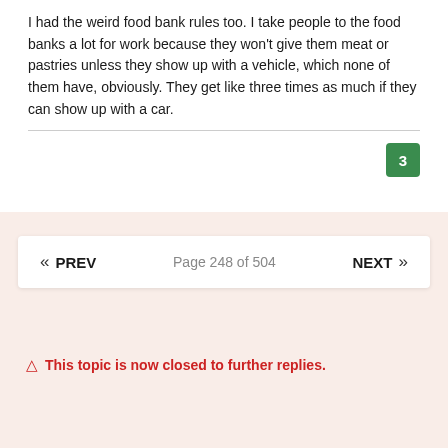I had the weird food bank rules too. I take people to the food banks a lot for work because they won't give them meat or pastries unless they show up with a vehicle, which none of them have, obviously. They get like three times as much if they can show up with a car.
« PREV   Page 248 of 504   NEXT »
⚠ This topic is now closed to further replies.